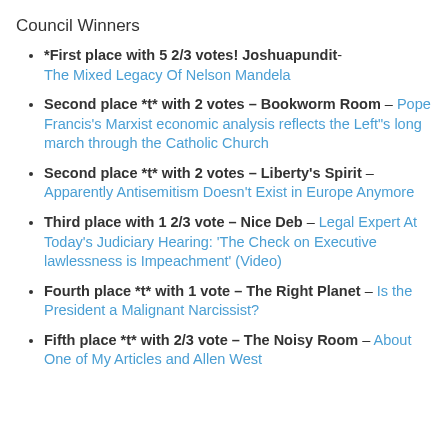Council Winners
*First place with 5 2/3 votes! Joshuapundit- The Mixed Legacy Of Nelson Mandela
Second place *t* with 2 votes – Bookworm Room – Pope Francis's Marxist economic analysis reflects the Left"s long march through the Catholic Church
Second place *t* with 2 votes – Liberty's Spirit – Apparently Antisemitism Doesn't Exist in Europe Anymore
Third place with 1 2/3 vote – Nice Deb – Legal Expert At Today's Judiciary Hearing: 'The Check on Executive lawlessness is Impeachment' (Video)
Fourth place *t* with 1 vote – The Right Planet – Is the President a Malignant Narcissist?
Fifth place *t* with 2/3 vote – The Noisy Room – About One of My Articles and Allen West